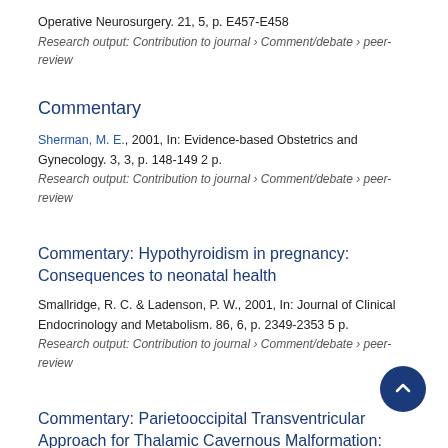Operative Neurosurgery. 21, 5, p. E457-E458
Research output: Contribution to journal › Comment/debate › peer-review
Commentary
Sherman, M. E., 2001, In: Evidence-based Obstetrics and Gynecology. 3, 3, p. 148-149 2 p.
Research output: Contribution to journal › Comment/debate › peer-review
Commentary: Hypothyroidism in pregnancy: Consequences to neonatal health
Smallridge, R. C. & Ladenson, P. W., 2001, In: Journal of Clinical Endocrinology and Metabolism. 86, 6, p. 2349-2353 5 p.
Research output: Contribution to journal › Comment/debate › peer-review
Commentary: Parietooccipital Transventricular Approach for Thalamic Cavernous Malformation: